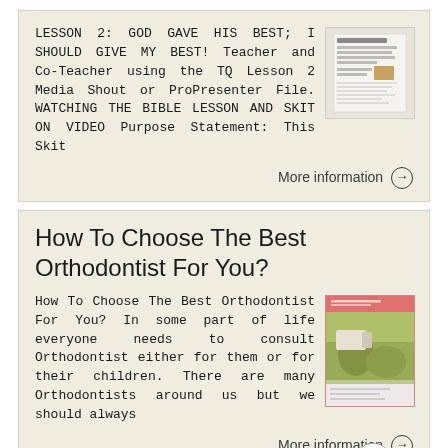LESSON 2: GOD GAVE HIS BEST; I SHOULD GIVE MY BEST! Teacher and Co-Teacher using the TQ Lesson 2 Media Shout or ProPresenter File. WATCHING THE BIBLE LESSON AND SKIT ON VIDEO Purpose Statement: This Skit
[Figure (screenshot): Thumbnail image of a document or worksheet]
More information →
How To Choose The Best Orthodontist For You?
How To Choose The Best Orthodontist For You? In some part of life everyone needs to consult Orthodontist either for them or for their children. There are many Orthodontists around us but we should always
[Figure (photo): Thumbnail image showing an orthodontist office with dental chair]
More information →
This sho...